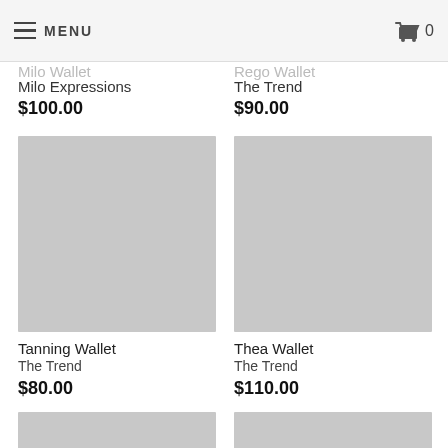MENU | Cart 0
Milo Wallet
Rego Wallet
Milo Expressions
$100.00
The Trend
$90.00
[Figure (photo): Tanning Wallet product image placeholder (gray square)]
[Figure (photo): Thea Wallet product image placeholder (gray square)]
Tanning Wallet
The Trend
$80.00
Thea Wallet
The Trend
$110.00
[Figure (photo): Partial product image placeholder bottom left (gray)]
[Figure (photo): Partial product image placeholder bottom right (gray)]